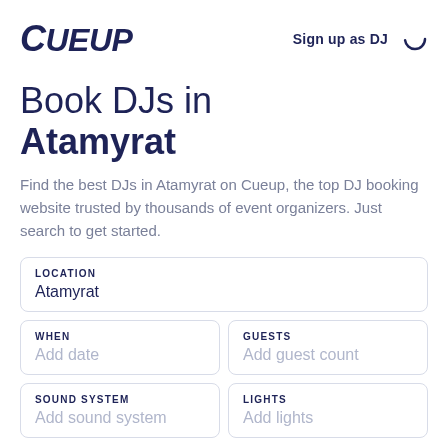CUEUP | Sign up as DJ
Book DJs in Atamyrat
Find the best DJs in Atamyrat on Cueup, the top DJ booking website trusted by thousands of event organizers. Just search to get started.
LOCATION
Atamyrat
WHEN
Add date | GUESTS
Add guest count
SOUND SYSTEM
Add sound system | LIGHTS
Add lights